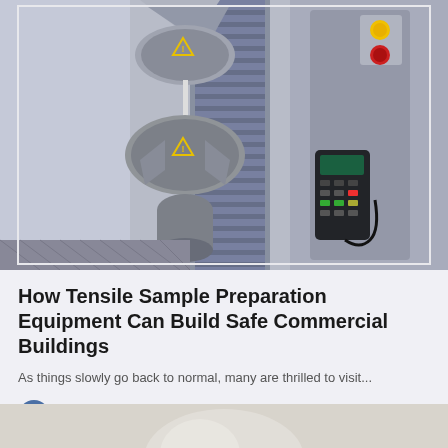[Figure (photo): Close-up photograph of tensile testing machine with metal grips/clamps holding a sample, showing a large vertical frame with ridged column, a handheld controller with buttons, and a red emergency stop button on the machine frame.]
How Tensile Sample Preparation Equipment Can Build Safe Commercial Buildings
As things slowly go back to normal, many are thrilled to visit...
Samantha Rogers
[Figure (photo): Partial view of another article's image at the bottom of the page, showing a light-colored background with partial content visible.]